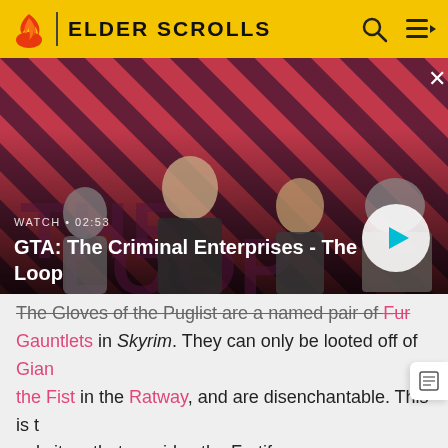ELDER SCROLLS
[Figure (screenshot): GTA: The Criminal Enterprises - The Loop video thumbnail with four characters on a red diagonal striped background. Shows WATCH • 02:53 label and play button.]
The Gloves of the Puglist are a named pair of Fur Gauntlets in Skyrim. They can only be looted off of Giant the Fist in the Ratway, and are disenchantable. This is the only item that provides the Fortify Unarmed enchantment.